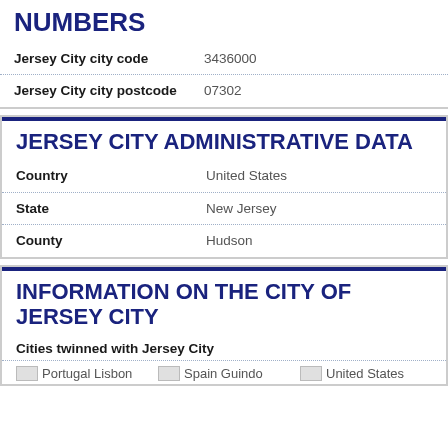NUMBERS
| Label | Value |
| --- | --- |
| Jersey City city code | 3436000 |
| Jersey City city postcode | 07302 |
JERSEY CITY ADMINISTRATIVE DATA
| Label | Value |
| --- | --- |
| Country | United States |
| State | New Jersey |
| County | Hudson |
INFORMATION ON THE CITY OF JERSEY CITY
Cities twinned with Jersey City
Portugal Lisbon | Spain Guindo | United States